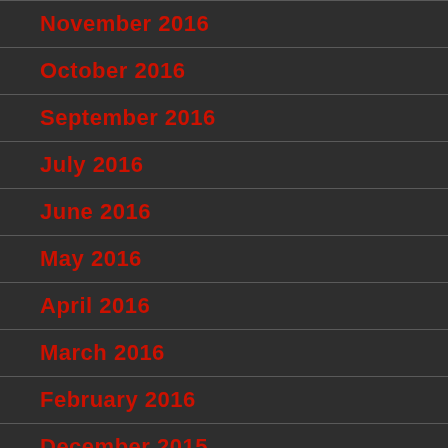November 2016
October 2016
September 2016
July 2016
June 2016
May 2016
April 2016
March 2016
February 2016
December 2015